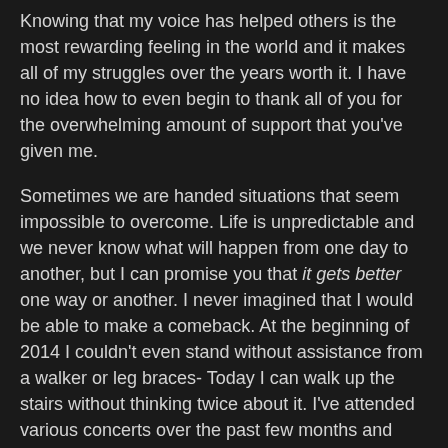Knowing that my voice has helped others is the most rewarding feeling in the world and it makes all of my struggles over the years worth it. I have no idea how to even begin to thank all of you for the overwhelming amount of support that you've given me.
Sometimes we are handed situations that seem impossible to overcome. Life is unpredictable and we never know what will happen from one day to another, but I can promise you that it gets better one way or another. I never imagined that I would be able to make a comeback. At the beginning of 2014 I couldn't even stand without assistance from a walker or leg braces- Today I can walk up the stairs without thinking twice about it. I've attended various concerts over the past few months and was able to dance the night away at each one. (Of course I had to pay for it the next day, but IT WAS WORTH IT!) Thanks to IVIG treatments, I am now able to eat foods that once caused Anaphylaxis. I'm not anywhere close to being cured.